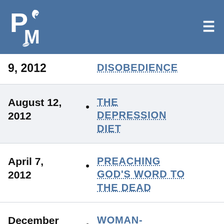PM logo | hamburger menu
9, 2012 • DISOBEDIENCE
August 12, 2012 • THE DEPRESSION DIET
April 7, 2012 • PREACHING GOD'S WORD TO THE DEAD
December 8, 2011 • WOMAN-LIBERATION